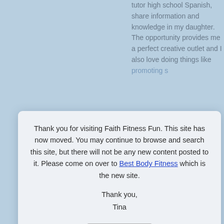tutor high school Spanish, share information and knowledge in my daughter. The opportunity provides me a perfect creative outlet and I also love doing things like promoting s...
[Figure (screenshot): Modal dialog box on a light blue website background. The dialog says: Thank you for visiting Faith Fitness Fun. This site has now moved. You may continue to browse and search this site, but there will not be any new content posted to it. Please come on over to Best Body Fitness which is the new site. Thank you, Tina. With an Ok button.]
I believe this aspect serves as the big... I thrive on developing myself in new w... work on our passions. Life wouldn't... love, not only will we experience a gre... lives to paths unforeseen.
Don't ask yourself what the world nee... go and do that. Because what the wor...